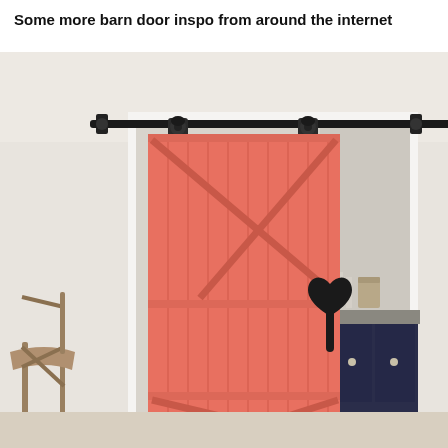Some more barn door inspo from around the internet
[Figure (photo): A coral/salmon-colored sliding barn door on a black metal track rail mounted on a white interior wall. The door features a Z-brace / K-brace wood plank design and a black heart-shaped door handle. To the left of the door frame is a wooden chair. To the right, partially visible behind the sliding door, is a dark navy blue cabinet with silver knobs and a countertop with glassware and containers. The overall room has light beige/cream walls.]